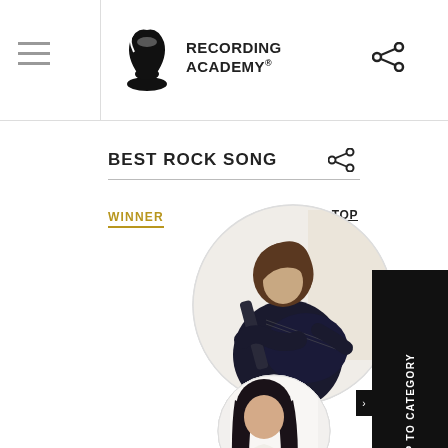Recording Academy
BEST ROCK SONG
WINNER
TOP
[Figure (photo): Circular photo of a person playing acoustic guitar, wearing black, with medium-length brown hair]
[Figure (photo): Circular photo of a person with long dark hair wearing white]
JUMP TO CATEGORY